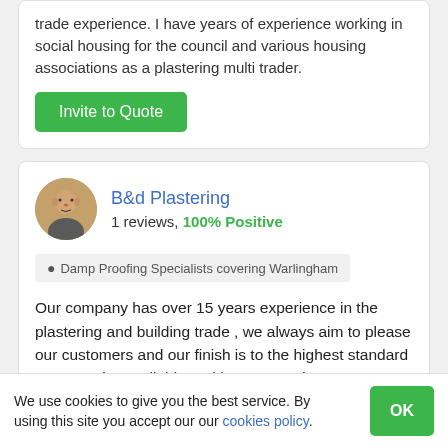trade experience. I have years of experience working in social housing for the council and various housing associations as a plastering multi trader.
Invite to Quote
B&d Plastering
1 reviews, 100% Positive
Damp Proofing Specialists covering Warlingham
Our company has over 15 years experience in the plastering and building trade , we always aim to please our customers and our finish is to the highest standard , we are clean reliable and have a good
We use cookies to give you the best service. By using this site you accept our our cookies policy.